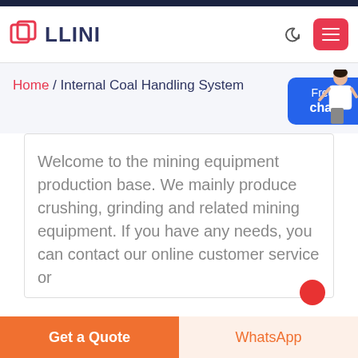LLINI
Home / Internal Coal Handling System
[Figure (illustration): Customer service representative figure standing next to free chat button]
Welcome to the mining equipment production base. We mainly produce crushing, grinding and related mining equipment. If you have any needs, you can contact our online customer service or
Get a Quote | WhatsApp